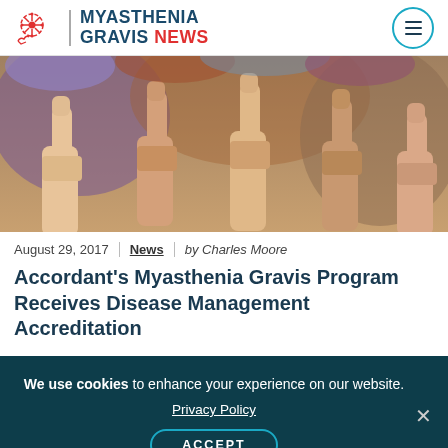[Figure (logo): Myasthenia Gravis News logo with snowflake/nerve icon in red and blue, site title in navy and red]
[Figure (photo): Multiple hands giving thumbs up gesture against a blurred colorful background]
August 29, 2017 | News | by Charles Moore
Accordant's Myasthenia Gravis Program Receives Disease Management Accreditation
We use cookies to enhance your experience on our website. Privacy Policy ACCEPT